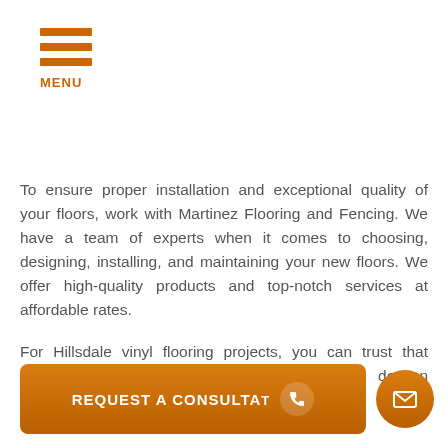MENU
To ensure proper installation and exceptional quality of your floors, work with Martinez Flooring and Fencing. We have a team of experts when it comes to choosing, designing, installing, and maintaining your new floors. We offer high-quality products and top-notch services at affordable rates.

For Hillsdale vinyl flooring projects, you can trust that Martinez Flooring and Fencing will always do an impeccable job!
[Figure (other): Orange call-to-action button with text REQUEST A CONSULTATION and phone icon, plus a circular email icon button]